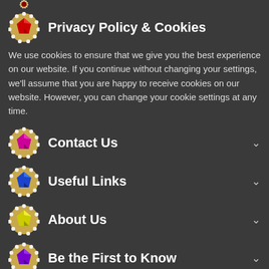[Figure (illustration): Partial decorative gem icon at the top (cropped)]
Privacy Policy & Cookies
We use cookies to ensure that we give you the best experience on our website. If you continue without changing your settings, we'll assume that you are happy to receive cookies on our website. However, you can change your cookie settings at any time.
Contact Us
Useful Links
About Us
Be the First to Know